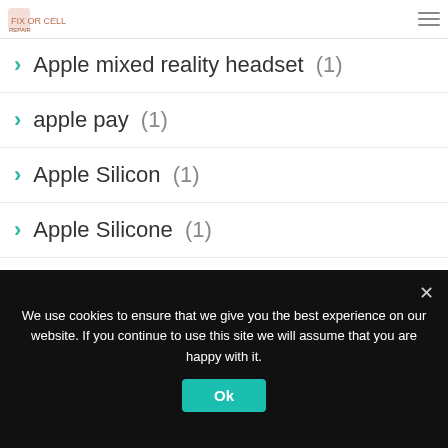Fix or Cell logo and navigation
Apple mixed reality headset (1)
apple pay (1)
Apple Silicon (1)
Apple Silicone (1)
apple tv (2)
Apple TV 4 (1)
Apple Watch (1)
We use cookies to ensure that we give you the best experience on our website. If you continue to use this site we will assume that you are happy with it.